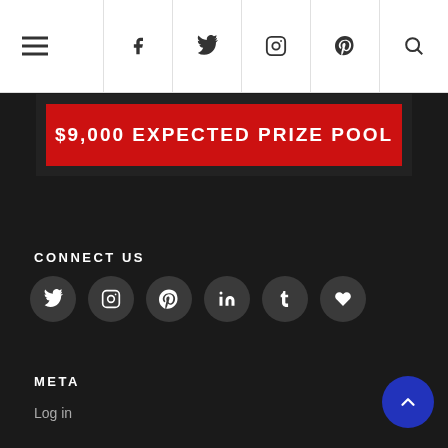Navigation bar with hamburger menu and social icons (f, twitter, instagram, pinterest, search)
[Figure (screenshot): Dark banner with red strip reading '$9,000 EXPECTED PRIZE POOL' in white bold uppercase letters on red background]
CONNECT US
[Figure (infographic): Row of six dark circular social media icon buttons: Twitter, Instagram, Pinterest, LinkedIn, Tumblr, Heart/Bloglovin]
META
Log in
[Figure (other): Dark blue circular back-to-top button with upward chevron arrow in bottom right corner]